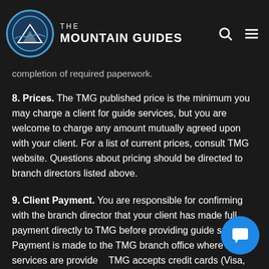THE MOUNTAIN GUIDES
payment to TMG described in paragraph 10, above, guest guides are responsible for all client including logistics, safety briefings and completion of required paperwork.
8. Prices. The TMG published price is the minimum you may charge a client for guide services, but you are welcome to charge any amount mutually agreed upon with your client. For a list of current prices, consult TMG website. Questions about pricing should be directed to branch directors listed above.
9. Client Payment. You are responsible for confirming with the branch director that your client has made full payment directly to TMG before providing guide services. Payment is made to the TMG branch office where services are provided. TMG accepts credit cards (Visa, Mastercard and Discover and AMEX), personal and traveler's checks.